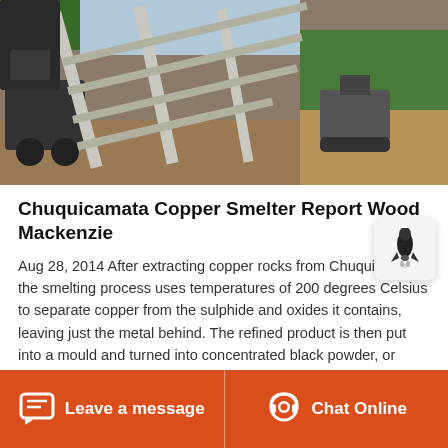[Figure (photo): Industrial mining/smelting equipment on a construction site with metal scaffolding/conveyor structure, dirt ground, and green trees in the background.]
Chuquicamata Copper Smelter Report Wood Mackenzie
Aug 28, 2014 After extracting copper rocks from Chuquicamata, the smelting process uses temperatures of 200 degrees Celsius to separate copper from the sulphide and oxides it contains, leaving just the metal behind. The refined product is then put into a mould and turned into concentrated black powder, or shipped off to China in blocks.
Leave a message   Chat Online